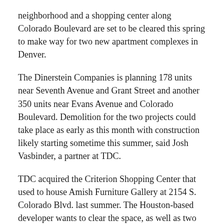neighborhood and a shopping center along Colorado Boulevard are set to be cleared this spring to make way for two new apartment complexes in Denver.
The Dinerstein Companies is planning 178 units near Seventh Avenue and Grant Street and another 350 units near Evans Avenue and Colorado Boulevard. Demolition for the two projects could take place as early as this month with construction likely starting sometime this summer, said Josh Vasbinder, a partner at TDC.
TDC acquired the Criterion Shopping Center that used to house Amish Furniture Gallery at 2154 S. Colorado Blvd. last summer. The Houston-based developer wants to clear the space, as well as two adjacent homes on Ash Street, to build a five-story apartment building, Vasbinder said.